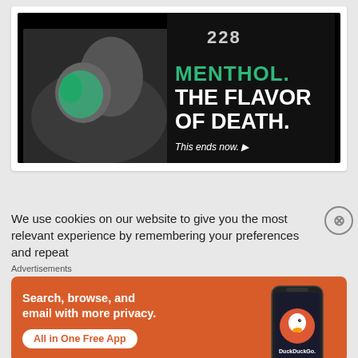[Figure (photo): Anti-menthol tobacco campaign image showing two people in a hospital setting (black and white photo), with green paint/overlay on one person's face. Text overlay reads: '228', 'MENTHOL. THE FLAVOR OF DEATH.', 'This ends now. ▶']
We use cookies on our website to give you the most relevant experience by remembering your preferences and repeat
Advertisements
[Figure (screenshot): DuckDuckGo advertisement on orange/red background. Text: 'Search, browse, and email with more privacy. All in One Free App'. Shows DuckDuckGo logo and a smartphone with the app.]